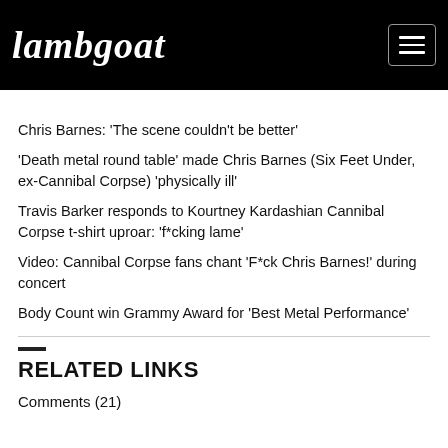lambgoat
Chris Barnes: 'The scene couldn't be better'
'Death metal round table' made Chris Barnes (Six Feet Under, ex-Cannibal Corpse) 'physically ill'
Travis Barker responds to Kourtney Kardashian Cannibal Corpse t-shirt uproar: 'f*cking lame'
Video: Cannibal Corpse fans chant 'F*ck Chris Barnes!' during concert
Body Count win Grammy Award for 'Best Metal Performance'
RELATED LINKS
Comments (21)